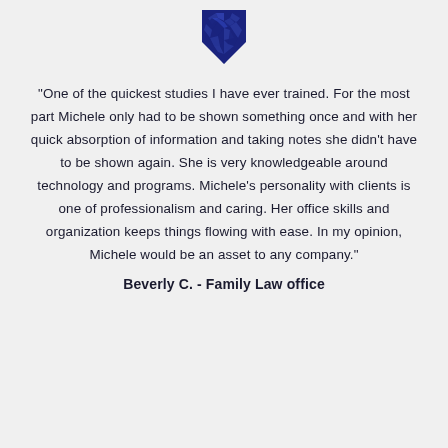[Figure (logo): Dark navy blue shield/crest logo with geometric faceted design at top center of page]
"One of the quickest studies I have ever trained.  For the most part Michele only had to be shown something once and with her quick absorption of information and taking notes she didn't have to be  shown again.  She is very knowledgeable around technology and programs.  Michele's personality with clients is one of professionalism and caring.  Her office skills and organization keeps things flowing with ease.  In my opinion, Michele would be an asset to any company."
Beverly C. - Family Law office